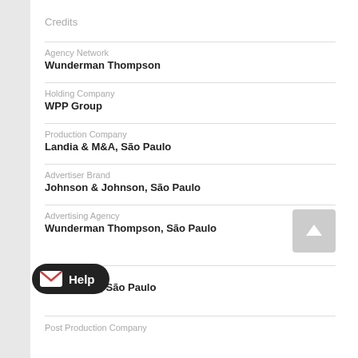Credits
Agency Network
Wunderman Thompson
Holding Company
WPP Group
Production Company
Landia & M&A, São Paulo
Advertiser Brand
Johnson & Johnson, São Paulo
Advertising Agency
Wunderman Thompson, São Paulo
...ny
...hompson, São Paulo
Post Production Company